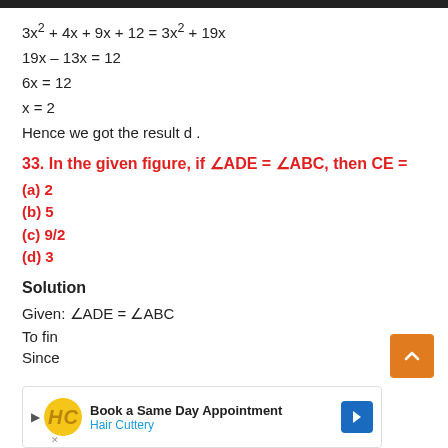Hence we got the result d .
33. In the given figure, if ∠ADE = ∠ABC, then CE =
(a) 2
(b) 5
(c) 9/2
(d) 3
Solution
Given: ∠ADE = ∠ABC
To fin
Since